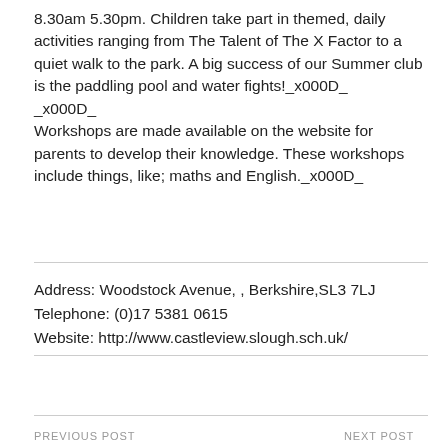8.30am 5.30pm. Children take part in themed, daily activities ranging from The Talent of The X Factor to a quiet walk to the park. A big success of our Summer club is the paddling pool and water fights!_x000D_
_x000D_
Workshops are made available on the website for parents to develop their knowledge. These workshops include things, like; maths and English._x000D_
Address: Woodstock Avenue, , Berkshire,SL3 7LJ
Telephone: (0)17 5381 0615
Website: http://www.castleview.slough.sch.uk/
PREVIOUS POST    NEXT POST